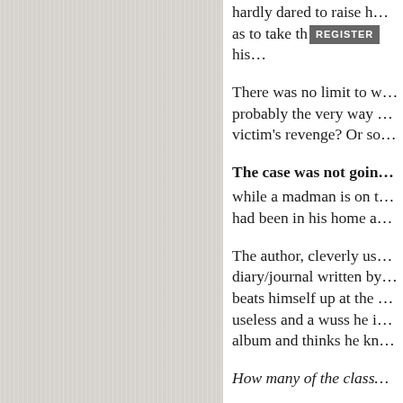hardly dared to raise h… as to take th[REGISTER]his…
There was no limit to w… probably the very way … victim's revenge? Or so…
The case was not goin…
while a madman is on t… had been in his home a…
The author, cleverly us… diary/journal written by… beats himself up at the … useless and a wuss he i… album and thinks he kn…
How many of the class…